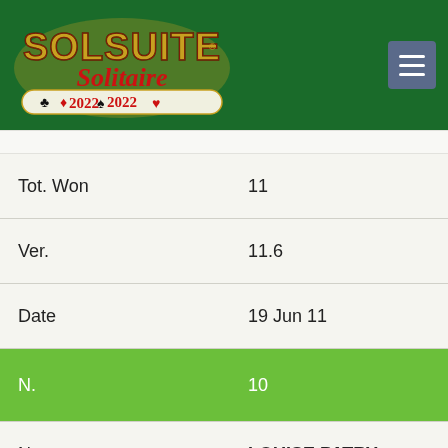[Figure (logo): SolSuite Solitaire 2022 logo on green background with hamburger menu icon]
| Field | Value |
| --- | --- |
| Tot. Won | 11 |
| Ver. | 11.6 |
| Date | 19 Jun 11 |
| N. | 10 |
| Name | LOUISE PATRY |
| Flag | [Canadian flag] |